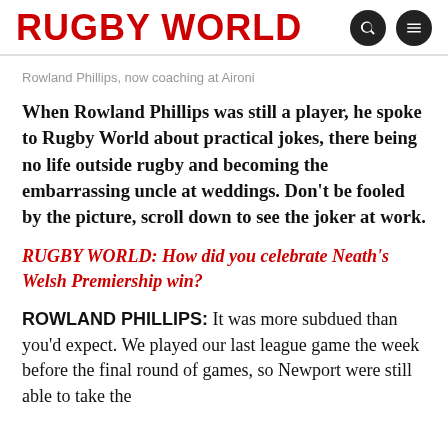RUGBY WORLD
Rowland Phillips, now coaching at Aironi
When Rowland Phillips was still a player, he spoke to Rugby World about practical jokes, there being no life outside rugby and becoming the embarrassing uncle at weddings. Don't be fooled by the picture, scroll down to see the joker at work.
RUGBY WORLD: How did you celebrate Neath's Welsh Premiership win?
ROWLAND PHILLIPS: It was more subdued than you'd expect. We played our last league game the week before the final round of games, so Newport were still able to take the